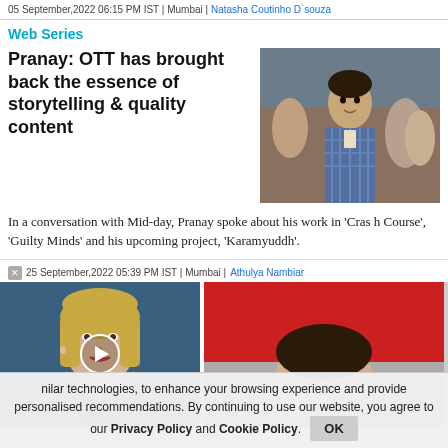05 September,2022 06:15 PM IST | Mumbai | Natasha Coutinho D`souza
Web Series
Pranay: OTT has brought back the essence of storytelling & quality content
[Figure (photo): Photo of Pranay, a man in a plaid shirt standing among people]
In a conversation with Mid-day, Pranay spoke about his work in 'Crash Course', 'Guilty Minds' and his upcoming project, 'Karamyuddh'.
25 September,2022 05:39 PM IST | Mumbai | Athulya Nambiar
[Figure (photo): Video thumbnail of a woman (Liz Truss) with a play button overlay, against a blue background]
[Figure (photo): Partially visible photo on the right side of second article]
nilar technologies, to enhance your browsing experience and provide personalised recommendations. By continuing to use our website, you agree to our Privacy Policy and Cookie Policy.